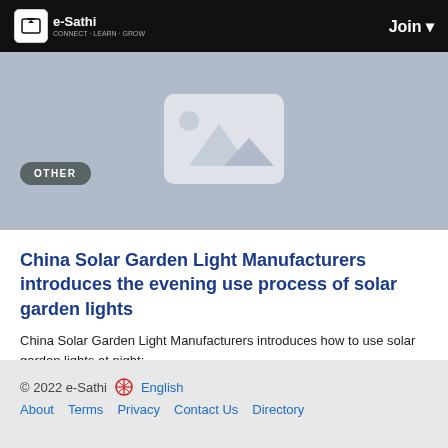e-Sathi  Join
[Figure (illustration): Placeholder image with light blue-grey background and a white image placeholder icon (mountain/landscape silhouette inside a rounded rectangle). A dark grey pill badge labeled OTHER is overlaid in the lower-left.]
China Solar Garden Light Manufacturers introduces the evening use process of solar garden lights
China Solar Garden Light Manufacturers introduces how to use solar garden lights at night:...
By Jia Longye  a year ago  0  162
© 2022 e-Sathi  English  About  Terms  Privacy  Contact Us  Directory